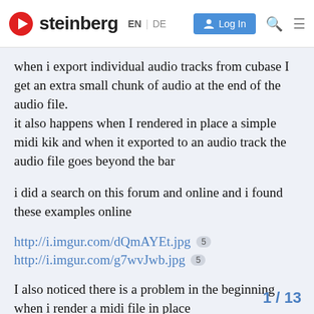steinberg EN | DE Log In
when i export individual audio tracks from cubase I get an extra small chunk of audio at the end of the audio file. it also happens when I rendered in place a simple midi kik and when it exported to an audio track the audio file goes beyond the bar
i did a search on this forum and online and i found these examples online
http://i.imgur.com/dQmAYEt.jpg 5
http://i.imgur.com/g7wvJwb.jpg 5
I also noticed there is a problem in the beginning when i render a midi file in place
the audio is off the grid due to the extra sp
1 / 13